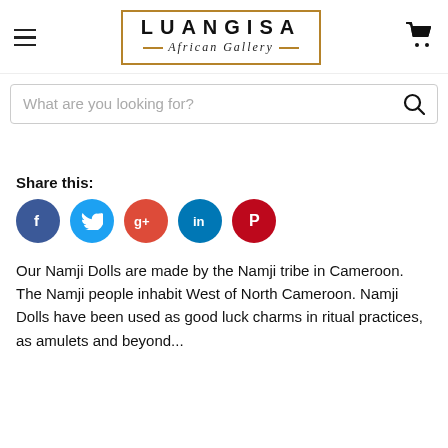[Figure (logo): Luangisa African Gallery logo in a rectangular brown-bordered box with bold lettering and italic script subtitle]
[Figure (other): Search bar with placeholder text 'What are you looking for?' and search icon]
Share this:
[Figure (infographic): Social media sharing icons: Facebook, Twitter, Google+, LinkedIn, Pinterest]
Our Namji Dolls are made by the Namji tribe in Cameroon. The Namji people inhabit West of North Cameroon. Namji Dolls have been used as good luck charms in ritual practices, as amulets and beyond...